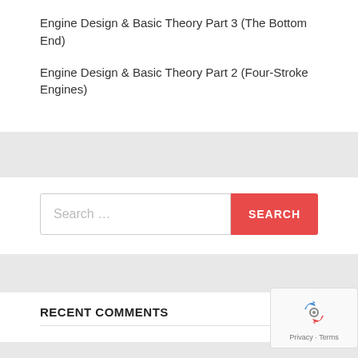Engine Design & Basic Theory Part 3 (The Bottom End)
Engine Design & Basic Theory Part 2 (Four-Stroke Engines)
Search …
RECENT COMMENTS
[Figure (other): reCAPTCHA privacy badge with recycling-arrow logo, 'Privacy · Terms' text]